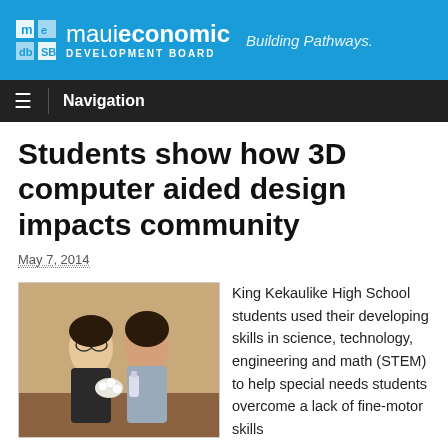maui economic DEVELOPMENT BOARD — Building Pathways.
Navigation
Students show how 3D computer aided design impacts community
May 7, 2014
[Figure (photo): Two students standing together, one male with glasses and one female smiling, holding a floral arrangement and a bottle]
King Kekaulike High School students used their developing skills in science, technology, engineering and math (STEM) to help special needs students overcome a lack of fine-motor skills